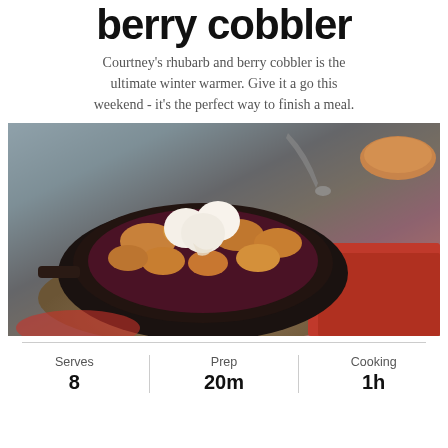berry cobbler
Courtney's rhubarb and berry cobbler is the ultimate winter warmer. Give it a go this weekend - it's the perfect way to finish a meal.
[Figure (photo): A cast iron skillet filled with berry cobbler topped with golden biscuit pieces and three scoops of vanilla ice cream, served on a wooden board with a red napkin and spoon in the background.]
| Serves | Prep | Cooking |
| --- | --- | --- |
| 8 | 20m | 1h |